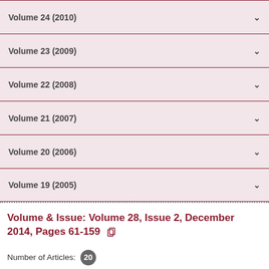Volume 24 (2010)
Volume 23 (2009)
Volume 22 (2008)
Volume 21 (2007)
Volume 20 (2006)
Volume 19 (2005)
Volume & Issue: Volume 28, Issue 2, December 2014, Pages 61-159
Number of Articles: 20
Effect of copper sulfate on liver damage induced by nano- zinc oxide in Cyprinus carpio